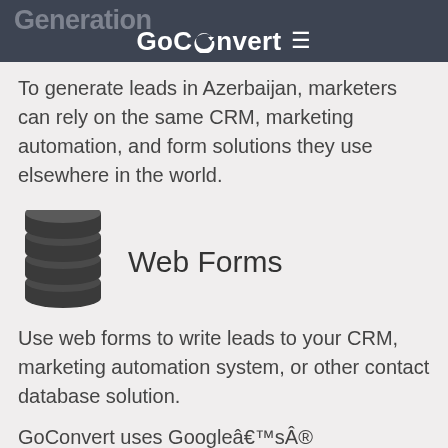Generation
GoConvert ≡
To generate leads in Azerbaijan, marketers can rely on the same CRM, marketing automation, and form solutions they use elsewhere in the world.
[Figure (illustration): Database / stacked cylinders icon representing Web Forms]
Web Forms
Use web forms to write leads to your CRM, marketing automation system, or other contact database solution.
GoConvert uses Googleâ€™sÂ® reCAPTCHA v3 to score every lead that enters our system. Customers can ignore lower-quality leads and focus on those with